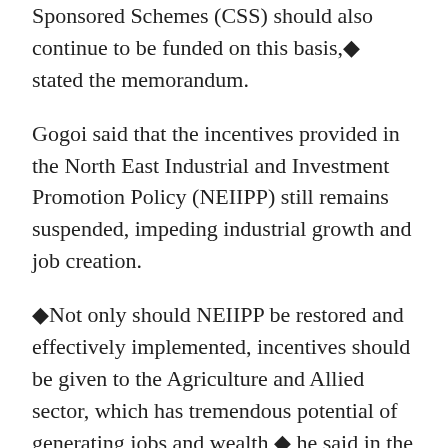Sponsored Schemes (CSS) should also continue to be funded on this basis,◆ stated the memorandum.
Gogoi said that the incentives provided in the North East Industrial and Investment Promotion Policy (NEIIPP) still remains suspended, impeding industrial growth and job creation.
◆Not only should NEIIPP be restored and effectively implemented, incentives should be given to the Agriculture and Allied sector, which has tremendous potential of generating jobs and wealth,◆ he said in the memorandum.
The Chief Minister said that the annual cycle of floods causes huge damage to the infrastructure in Assam.